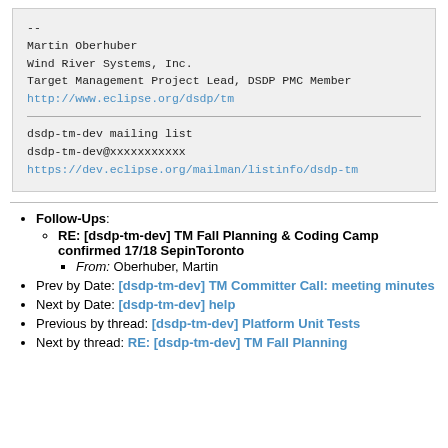--
Martin Oberhuber
Wind River Systems, Inc.
Target Management Project Lead, DSDP PMC Member
http://www.eclipse.org/dsdp/tm
dsdp-tm-dev mailing list
dsdp-tm-dev@xxxxxxxxxxx
https://dev.eclipse.org/mailman/listinfo/dsdp-tm
Follow-Ups:
RE: [dsdp-tm-dev] TM Fall Planning & Coding Camp confirmed 17/18 SepinToronto
From: Oberhuber, Martin
Prev by Date: [dsdp-tm-dev] TM Committer Call: meeting minutes
Next by Date: [dsdp-tm-dev] help
Previous by thread: [dsdp-tm-dev] Platform Unit Tests
Next by thread: RE: [dsdp-tm-dev] TM Fall Planning